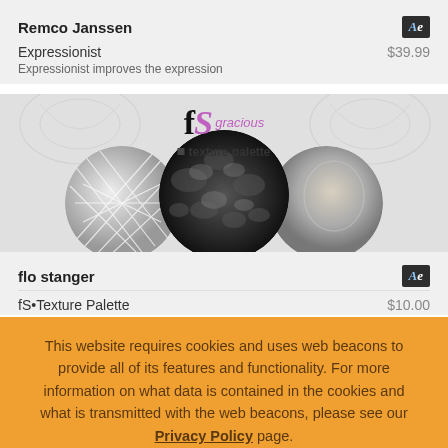Remco Janssen
Expressionist    $39.99
Expressionist improves the expression
[Figure (screenshot): fS Texture Palette product card with logo and three grayscale circle texture images]
flo stanger
fS•Texture Palette    $10.00
This website requires cookies and uses web beacons to provide all of its features and functionality. For more information on what data is contained in the cookies and what is transmitted with the web beacons, please see our Privacy Policy page.
ACCEPT AND CONTINUE